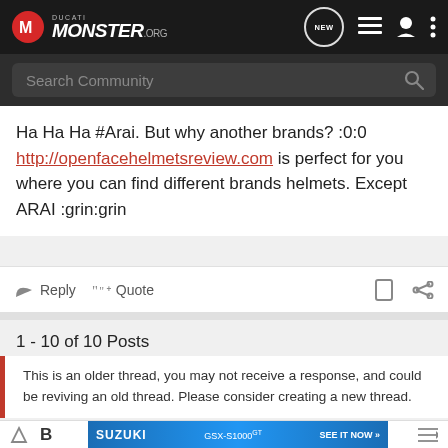Ducati Monster .org — NEW
Search Community
Ha Ha Ha #Arai. But why another brands? :0:0 http://openfacehelmetsreview.com is perfect for you where you can find different brands helmets. Except ARAI :grin:grin
Reply   Quote
1 - 10 of 10 Posts
This is an older thread, you may not receive a response, and could be reviving an old thread. Please consider creating a new thread.
[Figure (advertisement): Suzuki GSX-S1000 GT advertisement banner with motorcycle image and 'SEE IT NOW' call to action]